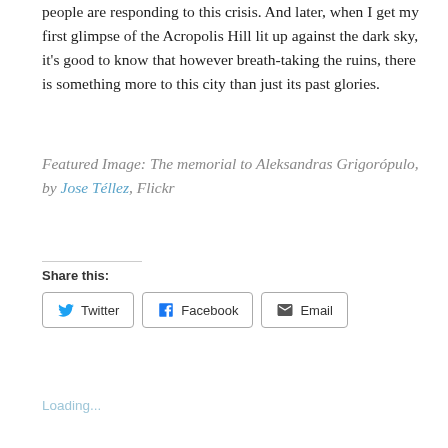people are responding to this crisis. And later, when I get my first glimpse of the Acropolis Hill lit up against the dark sky, it's good to know that however breath-taking the ruins, there is something more to this city than just its past glories.
Featured Image: The memorial to Aleksandras Grigorópulo, by Jose Téllez, Flickr
Share this:
Twitter  Facebook  Email
Loading...